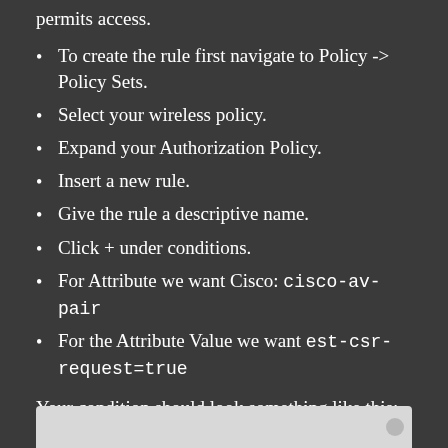permits access.
To create the rule first navigate to Policy -> Policy Sets.
Select your wireless policy.
Expand your Authorization Policy.
Insert a new rule.
Give the rule a descriptive name.
Click + under conditions.
For Attribute we want Cisco: cisco-av-pair
For the Attribute Value we want est-csr-request=true
Your condition should look something like this:
[Figure (screenshot): Screenshot showing the condition configuration]